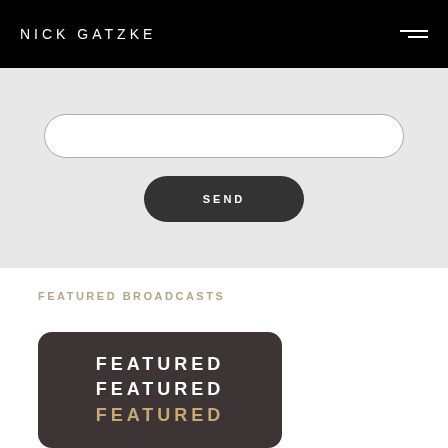NICK GATZKE
[Figure (screenshot): Input field with rounded border on light gray background]
SEND
FEATURED BROADCASTS
[Figure (illustration): Dark rounded card with text FEATURED FEATURED FEATURED stacked vertically in white and gold colors]